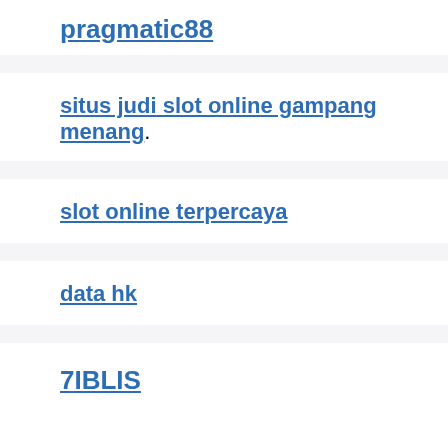pragmatic88
situs judi slot online gampang menang
slot online terpercaya
data hk
7IBLIS